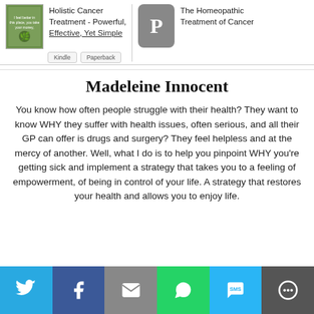[Figure (screenshot): Book promotion header with two book thumbnails: 'Holistic Cancer Treatment - Powerful, Effective, Yet Simple' with a green cover image and 'The Homeopathic Treatment of Cancer' with a grey P icon on dark background. Two small buttons below left book.]
Madeleine Innocent
You know how often people struggle with their health? They want to know WHY they suffer with health issues, often serious, and all their GP can offer is drugs and surgery? They feel helpless and at the mercy of another. Well, what I do is to help you pinpoint WHY you’re getting sick and implement a strategy that takes you to a feeling of empowerment, of being in control of your life. A strategy that restores your health and allows you to enjoy life.
[Figure (infographic): Social sharing bar at bottom with six colored buttons: Twitter (blue), Facebook (dark blue), Email (grey), WhatsApp (green), SMS (light blue), More (dark grey), each with white icons.]